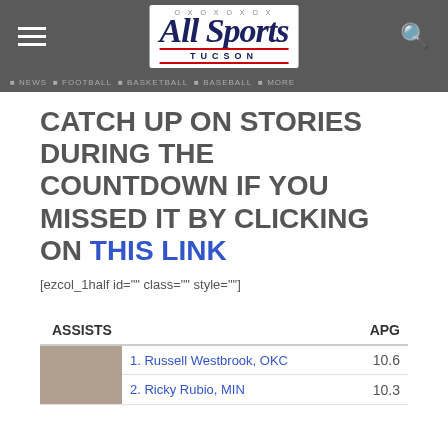All Sports Tucson
CATCH UP ON STORIES DURING THE COUNTDOWN IF YOU MISSED IT BY CLICKING ON THIS LINK
[ezcol_1half id="" class="" style=""]
| ASSISTS |  | APG |
| --- | --- | --- |
| [photo] | 1. Russell Westbrook, OKC | 10.6 |
|  | 2. Ricky Rubio, MIN | 10.3 |